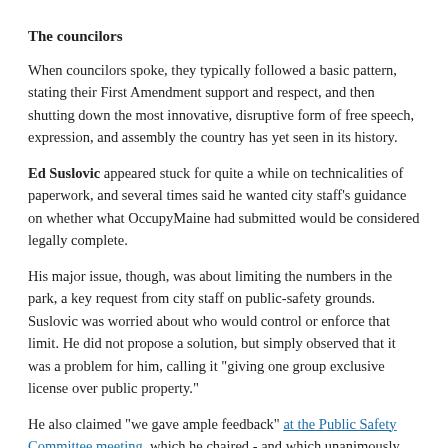The councilors
When councilors spoke, they typically followed a basic pattern, stating their First Amendment support and respect, and then shutting down the most innovative, disruptive form of free speech, expression, and assembly the country has yet seen in its history.
Ed Suslovic appeared stuck for quite a while on technicalities of paperwork, and several times said he wanted city staff's guidance on whether what OccupyMaine had submitted would be considered legally complete.
His major issue, though, was about limiting the numbers in the park, a key request from city staff on public-safety grounds. Suslovic was worried about who would control or enforce that limit. He did not propose a solution, but simply observed that it was a problem for him, calling it "giving one group exclusive license over public property."
He also claimed "we gave ample feedback" at the Public Safety Committee meeting, which he chaired - and which unanimously rejected an earlier version of OccupyMaine's petition, without proposing any specific amendments that might have passed muster.